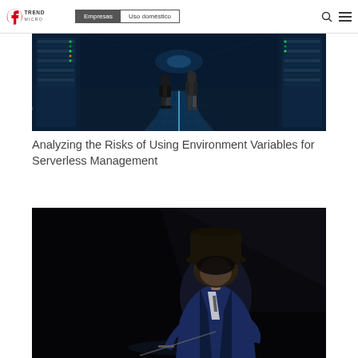Trend Micro | Empresas | Uso doméstico
[Figure (photo): Data center corridor with two people standing, illuminated floor with blue tones and server racks on both sides]
Analyzing the Risks of Using Environment Variables for Serverless Management
[Figure (photo): Dark image of a person wearing a hat and blue suit, partially illuminated, hacker/spy concept]